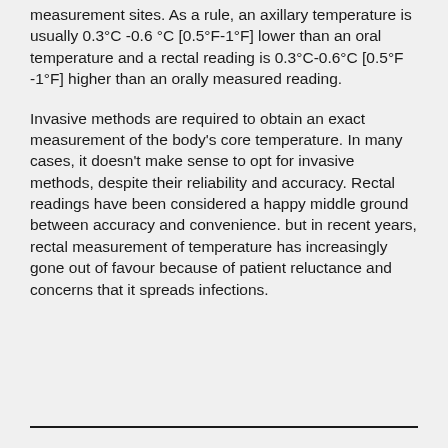measurement sites. As a rule, an axillary temperature is usually 0.3°C -0.6 °C [0.5°F-1°F] lower than an oral temperature and a rectal reading is 0.3°C-0.6°C [0.5°F -1°F] higher than an orally measured reading.
Invasive methods are required to obtain an exact measurement of the body's core temperature. In many cases, it doesn't make sense to opt for invasive methods, despite their reliability and accuracy. Rectal readings have been considered a happy middle ground between accuracy and convenience. but in recent years, rectal measurement of temperature has increasingly gone out of favour because of patient reluctance and concerns that it spreads infections.